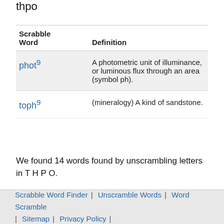4 letter words found by unscrambling letters in thpo
| Scrabble Word | Definition |
| --- | --- |
| phot9 | A photometric unit of illuminance, or luminous flux through an area (symbol ph). |
| toph9 | (mineralogy) A kind of sandstone. |
We found 14 words found by unscrambling letters in T H P O.
Definitions from Wikitionary and Text available under Creative Commons License
Scrabble Word Finder | Unscramble Words | Word Scramble | Sitemap | Privacy Policy |